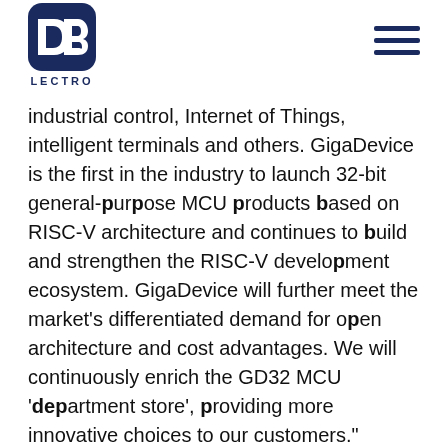[Figure (logo): DB Lectro logo: dark navy rounded square with white DB letters, text LECTRO below]
industrial control, Internet of Things, intelligent terminals and others. GigaDevice is the first in the industry to launch 32-bit general-purpose MCU products based on RISC-V architecture and continues to build and strengthen the RISC-V development ecosystem. GigaDevice will further meet the market's differentiated demand for open architecture and cost advantages. We will continuously enrich the GD32 MCU 'department store', providing more innovative choices to our customers."